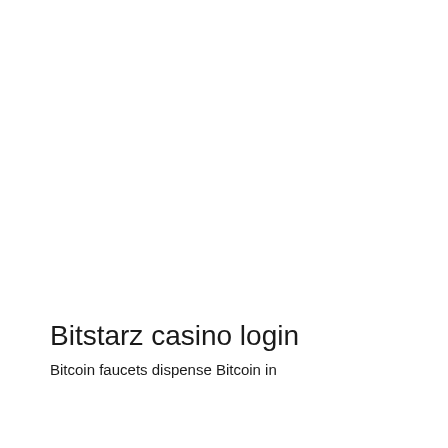Bitstarz casino login
Bitcoin faucets dispense Bitcoin in